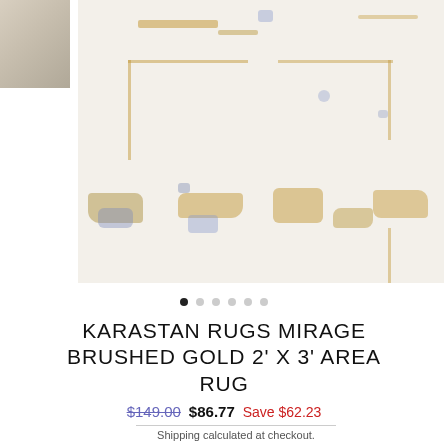[Figure (photo): Close-up of Karastan Rugs Mirage Brushed Gold area rug showing abstract gold and blue pattern on cream/ivory background. A small thumbnail swatch is visible in the top left corner.]
● ○ ○ ○ ○ ○
KARASTAN RUGS MIRAGE BRUSHED GOLD 2' X 3' AREA RUG
$149.00  $86.77  Save $62.23
Shipping calculated at checkout.